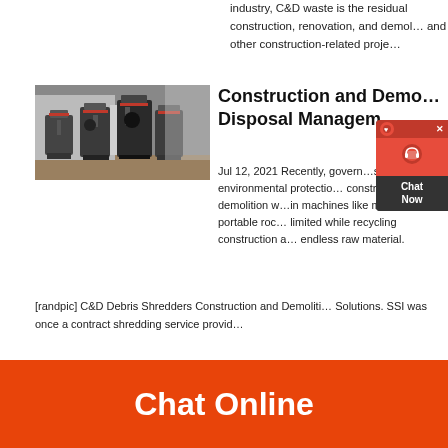industry, C&D waste is the residual construction, renovation, and demol... and other construction-related proje...
[Figure (photo): Industrial machinery - large dark grinding/milling machines in a factory setting]
Construction and Demo... Disposal Managem...
Jul 12, 2021 Recently, govern... s about environmental protectio... construction and demolition w...in machines like mobile or portable roc... limited while recycling construction a... endless raw material.
[Figure (other): Chat widget popup with headset icon, close button, and Chat Now label]
[randpic] C&D Debris Shredders Construction and Demoliti... Solutions. SSI was once a contract shredding service provid...
Chat Online